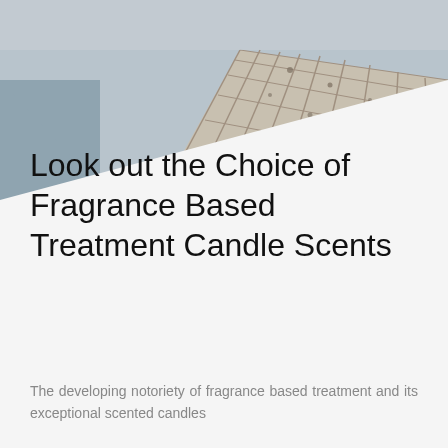[Figure (photo): Black and white photograph of a wooden dock/pier extending over water, viewed from a perspective angle, with misty water visible on sides.]
Look out the Choice of Fragrance Based Treatment Candle Scents
The developing notoriety of fragrance based treatment and its exceptional scented candles